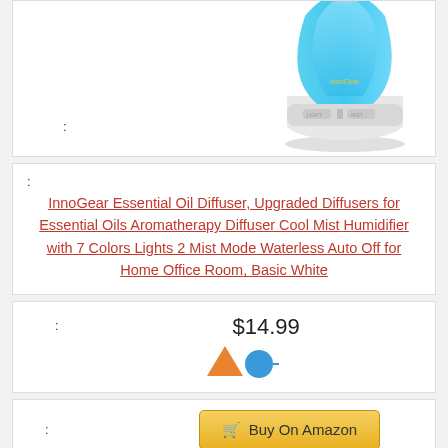[Figure (photo): InnoGear essential oil diffuser product image - white base with blue glowing top, LIGHT and MIST buttons visible, InnoGear logo on body]
:
: InnoGear Essential Oil Diffuser, Upgraded Diffusers for Essential Oils Aromatherapy Diffuser Cool Mist Humidifier with 7 Colors Lights 2 Mist Mode Waterless Auto Off for Home Office Room, Basic White
: $14.99
[Figure (logo): Partial orange and blue logo/icon]
: Buy On Amazon